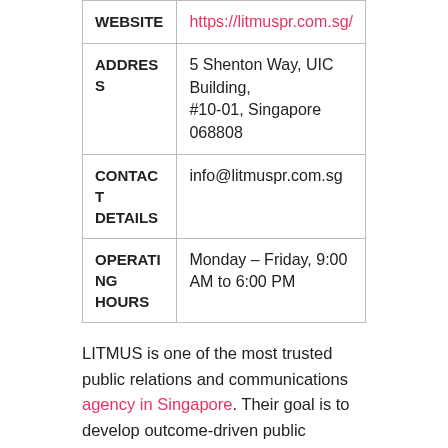| WEBSITE | https://litmuspr.com.sg/ |
| ADDRESS | 5 Shenton Way, UIC Building, #10-01, Singapore 068808 |
| CONTACT DETAILS | info@litmuspr.com.sg |
| OPERATING HOURS | Monday – Friday, 9:00 AM to 6:00 PM |
LITMUS is one of the most trusted public relations and communications agency in Singapore. Their goal is to develop outcome-driven public relations and communications campaigns to meet these business objectives different business objectives.
They achieve these objectives with their expertise in the innovation, corporate and technology sectors, working with corporate innovators and startups, from AdTech to